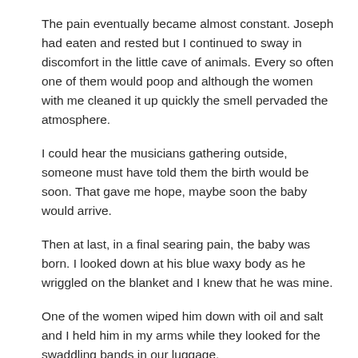The pain eventually became almost constant. Joseph had eaten and rested but I continued to sway in discomfort in the little cave of animals. Every so often one of them would poop and although the women with me cleaned it up quickly the smell pervaded the atmosphere.
I could hear the musicians gathering outside, someone must have told them the birth would be soon. That gave me hope, maybe soon the baby would arrive.
Then at last, in a final searing pain, the baby was born. I looked down at his blue waxy body as he wriggled on the blanket and I knew that he was mine.
One of the women wiped him down with oil and salt and I held him in my arms while they looked for the swaddling bands in our luggage.
How beautiful he was. His indigo eyes would soon turn brown and they gazed at me trustingly. I loved him with my whole being.